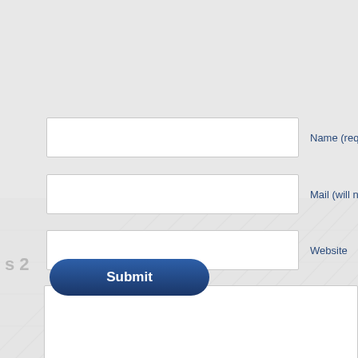[Figure (screenshot): Web form screenshot showing three text input fields labeled Name (required), Mail (will not be published) (required), Website, a large textarea, and a Submit button on a light gray background with decorative diagonal line pattern]
Name (required)
Mail (will not be published) (required)
Website
Submit